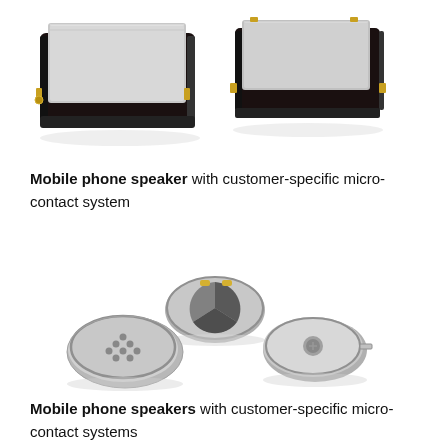[Figure (photo): Two mobile phone speakers viewed from above, showing rectangular form factor with metal top plate and dark plastic frame with gold contact pins]
Mobile phone speaker with customer-specific micro-contact system
[Figure (photo): Three mobile phone speakers: one round silver speaker viewed from above showing diaphragm with holes, one round silver speaker with gold contact pads on top, and one round speaker viewed from side showing internal construction]
Mobile phone speakers with customer-specific micro-contact systems